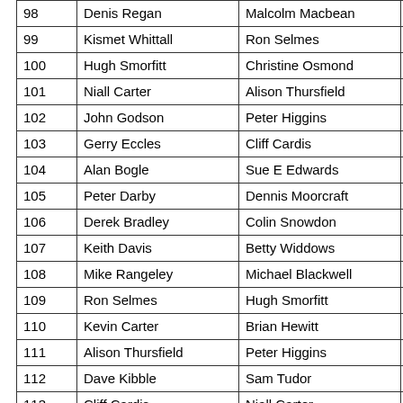| 98 | Denis Regan | Malcolm Macbean |  |
| 99 | Kismet Whittall | Ron Selmes |  |
| 100 | Hugh Smorfitt | Christine Osmond |  |
| 101 | Niall Carter | Alison Thursfield |  |
| 102 | John Godson | Peter Higgins |  |
| 103 | Gerry Eccles | Cliff Cardis |  |
| 104 | Alan Bogle | Sue E Edwards |  |
| 105 | Peter Darby | Dennis Moorcraft |  |
| 106 | Derek Bradley | Colin Snowdon |  |
| 107 | Keith Davis | Betty Widdows |  |
| 108 | Mike Rangeley | Michael Blackwell |  |
| 109 | Ron Selmes | Hugh Smorfitt |  |
| 110 | Kevin Carter | Brian Hewitt |  |
| 111 | Alison Thursfield | Peter Higgins |  |
| 112 | Dave Kibble | Sam Tudor |  |
| 113 | Cliff Cardis | Niall Carter |  |
| 114 | Tal Golesworthy | Paul Pristavec |  |
| 115 | Kismet Whittall | Geoffrey Taylor |  |
| 116 | Paul Smith | Andrew Cowing |  |
| 117 | Peter Darby | Mike Hammelev |  |
|  |  |  |  |